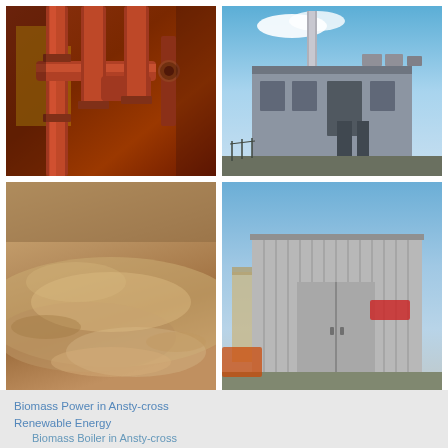[Figure (photo): Industrial red/brown pipes and valves in a chemical or energy plant]
[Figure (photo): Power plant or industrial building with chimney stack, grey facade, blue sky]
[Figure (photo): Close-up of biomass sawdust or wood chip fuel material in warm brown tones]
[Figure (photo): Large metal shipping container or industrial shed unit outdoors]
Biomass Power in Ansty-cross
Renewable Energy
    Biomass Boiler in Ansty-cross
Boiler